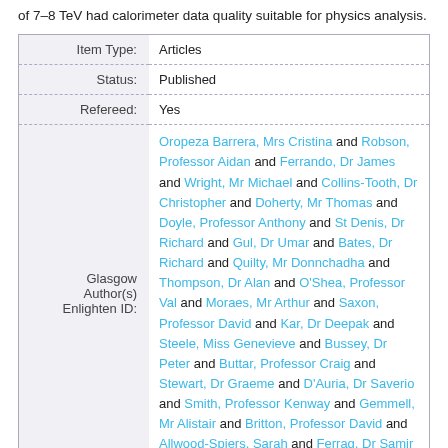of 7–8 TeV had calorimeter data quality suitable for physics analysis.
| Field | Value |
| --- | --- |
| Item Type: | Articles |
| Status: | Published |
| Refereed: | Yes |
| Glasgow Author(s) Enlighten ID: | Oropeza Barrera, Mrs Cristina and Robson, Professor Aidan and Ferrando, Dr James and Wright, Mr Michael and Collins-Tooth, Dr Christopher and Doherty, Mr Thomas and Doyle, Professor Anthony and St Denis, Dr Richard and Gul, Dr Umar and Bates, Dr Richard and Quilty, Mr Donnchadha and Thompson, Dr Alan and O'Shea, Professor Val and Moraes, Mr Arthur and Saxon, Professor David and Kar, Dr Deepak and Steele, Miss Genevieve and Bussey, Dr Peter and Buttar, Professor Craig and Stewart, Dr Graeme and D'Auria, Dr Saverio and Smith, Professor Kenway and Gemmell, Mr Alistair and Britton, Professor David and Allwood-Spiers, Sarah and Ferrag, Dr Samir |
|  | Aad, G., Abajyan, T., Abbott, B., Abdallah, J., Abdel Khalek, S., Abdinov, O., Aben, R., Abi, B., Abolins, M., Abu-Zeid, O. S., Abramowicz, H., Abuet, H., ... |